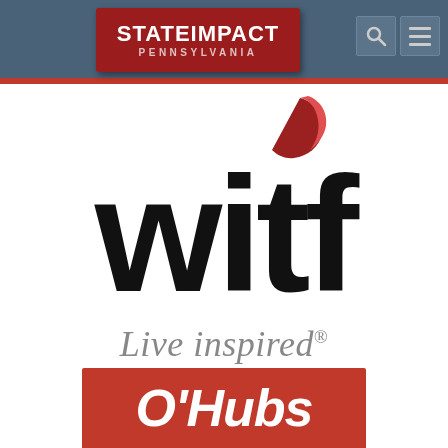[Figure (logo): StateImpact Pennsylvania website header with dark blue-gray background bar, red StateImpact Pennsylvania logo box on the left, search and menu icons on the right, and red accent bar below]
[Figure (logo): WITF logo with red swirl graphic above, large black bold 'witf' text, and gray italic tagline 'Live inspired' with registered trademark symbol]
[Figure (logo): Partial O'Hubs logo on red background at the bottom of the page, showing white italic bold text]